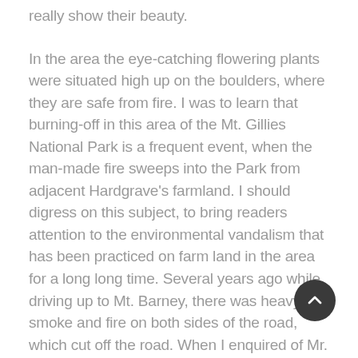really show their beauty.
In the area the eye-catching flowering plants were situated high up on the boulders, where they are safe from fire. I was to learn that burning-off in this area of the Mt. Gillies National Park is a frequent event, when the man-made fire sweeps into the Park from adjacent Hardgrave's farmland. I should digress on this subject, to bring readers attention to the environmental vandalism that has been practiced on farm land in the area for a long long time. Several years ago while driving up to Mt. Barney, there was heavy smoke and fire on both sides of the road, which cut off the road. When I enquired of Mr. Hardgrave who was surveying the scene from his old ute, I was